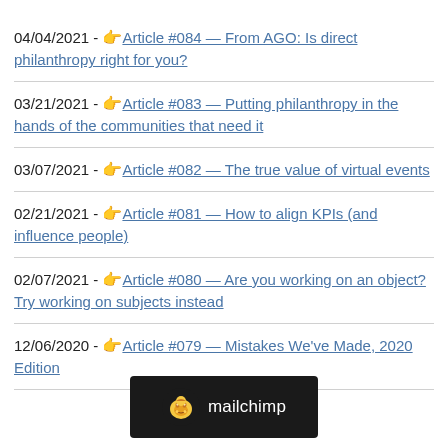04/04/2021 - 👉 Article #084 — From AGO: Is direct philanthropy right for you?
03/21/2021 - 👉 Article #083 — Putting philanthropy in the hands of the communities that need it
03/07/2021 - 👉 Article #082 — The true value of virtual events
02/21/2021 - 👉 Article #081 — How to align KPIs (and influence people)
02/07/2021 - 👉 Article #080 — Are you working on an object? Try working on subjects instead
12/06/2020 - 👉 Article #079 — Mistakes We've Made, 2020 Edition
[Figure (logo): Mailchimp logo on black background]